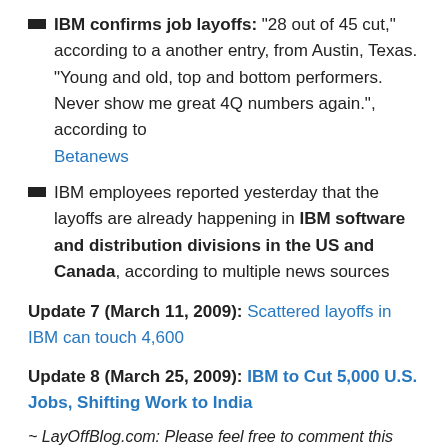IBM confirms job layoffs: "28 out of 45 cut," according to a another entry, from Austin, Texas. "Young and old, top and bottom performers. Never show me great 4Q numbers again.", according to Betanews
IBM employees reported yesterday that the layoffs are already happening in IBM software and distribution divisions in the US and Canada, according to multiple news sources
Update 7 (March 11, 2009): Scattered layoffs in IBM can touch 4,600
Update 8 (March 25, 2009): IBM to Cut 5,000 U.S. Jobs, Shifting Work to India
~ LayOffBlog.com: Please feel free to comment this info and/or send us your updates regarding IBM layoffs. ~